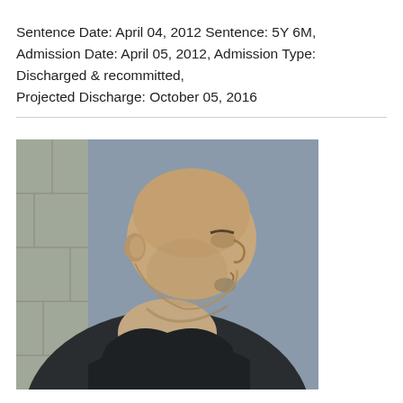Sentence Date: April 04, 2012 Sentence: 5Y 6M, Admission Date: April 05, 2012, Admission Type: Discharged & recommitted, Projected Discharge: October 05, 2016
[Figure (photo): Side profile photo of a heavyset bald man wearing a dark jacket, facing right, against a grey-blue wall background]